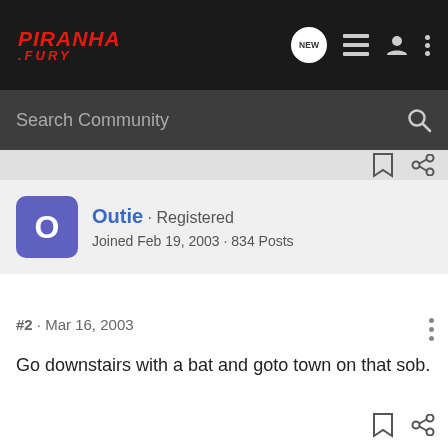[Figure (logo): Piranha Fury forum logo in red italic text on dark background]
Search Community
Outie · Registered
Joined Feb 19, 2003 · 834 Posts
#2 · Mar 16, 2003
Go downstairs with a bat and goto town on that sob.